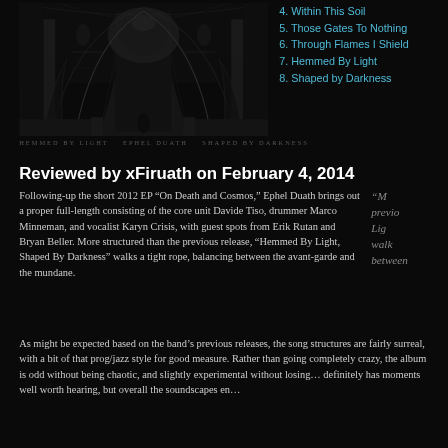[Figure (photo): Black and white photograph of a cathedral interior with arched ceilings and ornate gothic architecture]
HEMMED BY LIGHT   EPHEL DUATH   SHAPED BY DARKNESS
4. Within This Soil
5. Those Gates To Nothing
6. Through Flames I Shield
7. Hemmed By Light
8. Shaped by Darkness
Reviewed by xFiruath on February 4, 2014
Following-up the short 2012 EP “On Death and Cosmos,” Ephel Duath brings out a proper full-length consisting of the core unit Davide Tiso, drummer Marco Minneman, and vocalist Karyn Crisis, with guest spots from Erik Rutan and Bryan Beller. More structured than the previous release, “Hemmed By Light, Shaped By Darkness” walks a tight rope, balancing between the avant-garde and the mundane.
As might be expected based on the band’s previous releases, the song structures are fairly surreal, with a bit of that prog/jazz style for good measure. Rather than going completely crazy, the album is odd without being chaotic, and slightly experimental without losing… definitely has moments well worth hearing, but overall the soundscapes en…